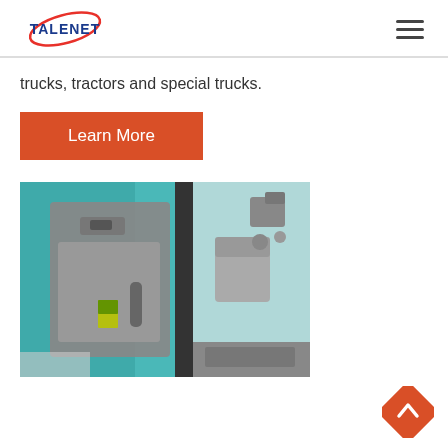TALENET
trucks, tractors and special trucks.
Learn More
[Figure (photo): Interior view of a teal/turquoise truck cab with the door open, showing the gray door panel interior, step, and cab interior with seat visible.]
[Figure (other): Orange diamond-shaped back-to-top button with upward chevron arrow.]